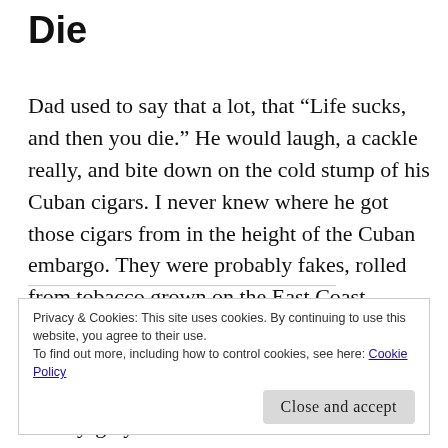Die
Dad used to say that a lot, that “Life sucks, and then you die.” He would laugh, a cackle really, and bite down on the cold stump of his Cuban cigars. I never knew where he got those cigars from in the height of the Cuban embargo. They were probably fakes, rolled from tobacco grown on the East Coast somewhere, with the little gold Habanos rings slipped over them like false
Privacy & Cookies: This site uses cookies. By continuing to use this website, you agree to their use.
To find out more, including how to control cookies, see here: Cookie Policy
mostly-grey beard on each side of his mouth.